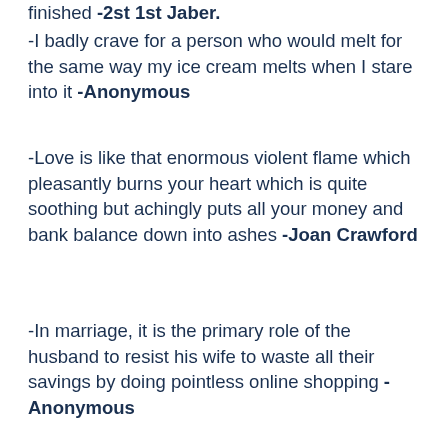-I badly crave for a person who would melt for the same way my ice cream melts when I stare into it -Anonymous
-Love is like that enormous violent flame which pleasantly burns your heart which is quite soothing but achingly puts all your money and bank balance down into ashes -Joan Crawford
-In marriage, it is the primary role of the husband to resist his wife to waste all their savings by doing pointless online shopping -Anonymous